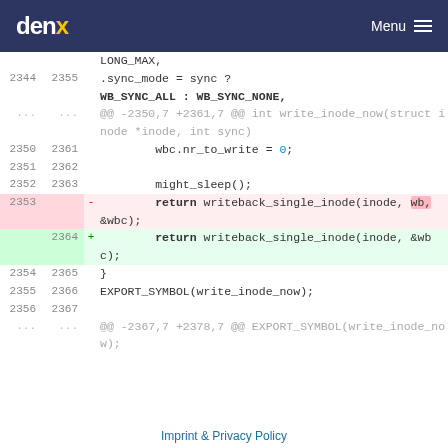denx   Menu
[Figure (screenshot): Code diff view showing changes to writeback_single_inode function call in a Linux kernel file. Lines 2344-2367 shown with context, deletion of 'return writeback_single_inode(inode, wb, &wbc);' and addition of 'return writeback_single_inode(inode, &wbc);'.]
Imprint & Privacy Policy